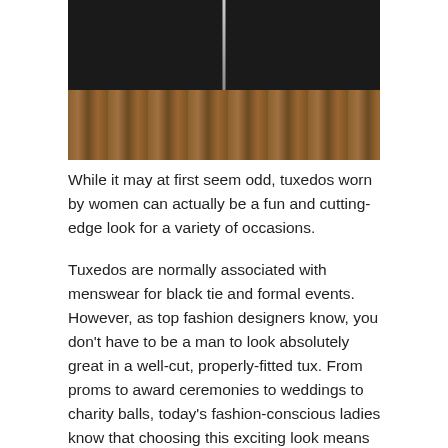[Figure (photo): Close-up photo of a black leather jacket with a silver zipper, worn over a wooden barrel or wooden background visible below]
While it may at first seem odd, tuxedos worn by women can actually be a fun and cutting-edge look for a variety of occasions.
Tuxedos are normally associated with menswear for black tie and formal events. However, as top fashion designers know, you don't have to be a man to look absolutely great in a well-cut, properly-fitted tux. From proms to award ceremonies to weddings to charity balls, today's fashion-conscious ladies know that choosing this exciting look means that